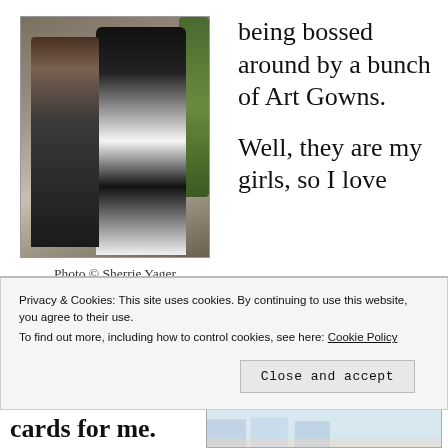[Figure (photo): A woman with long dark hair holding a mug, standing next to a black and white mannequin wearing an art gown, in a room with plants in the background.]
Photo © Sherrie Yager
being bossed around by a bunch of Art Gowns.
Well, they are my girls, so I love
them. AND I adore you! How
[Figure (photo): A photo showing blue watercolor-like shapes on a light background.]
Privacy & Cookies: This site uses cookies. By continuing to use this website, you agree to their use.
To find out more, including how to control cookies, see here: Cookie Policy
Close and accept
cards for me.
[Figure (photo): Partial view of another photo at the bottom of the page.]